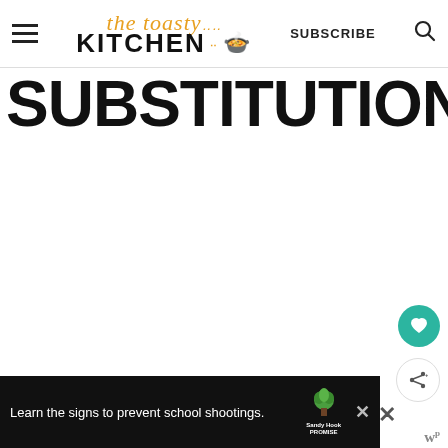The Toasty Kitchen — SUBSCRIBE
SUBSTITUTIONS
[Figure (other): Floating heart favorite button (teal circle with heart icon) and share button (white circle with share icon)]
[Figure (other): Ad banner: Learn the signs to prevent school shootings. Sandy Hook Promise logo with green tree.]